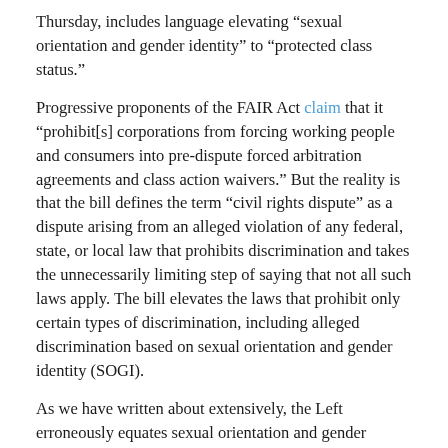Thursday, includes language elevating “sexual orientation and gender identity” to “protected class status.”
Progressive proponents of the FAIR Act claim that it “prohibit[s] corporations from forcing working people and consumers into pre-dispute forced arbitration agreements and class action waivers.” But the reality is that the bill defines the term “civil rights dispute” as a dispute arising from an alleged violation of any federal, state, or local law that prohibits discrimination and takes the unnecessarily limiting step of saying that not all such laws apply. The bill elevates the laws that prohibit only certain types of discrimination, including alleged discrimination based on sexual orientation and gender identity (SOGI).
As we have written about extensively, the Left erroneously equates sexual orientation and gender identity with immutable characteristics such as race, age, and national origin. It then elevates SOGI as a matter of “civil rights.” In the context of arbitration, as in the FAIR Act, elevating SOGI categories to protected classes status could have a detrimental effect on faith-based organizations that use arbitration clauses.